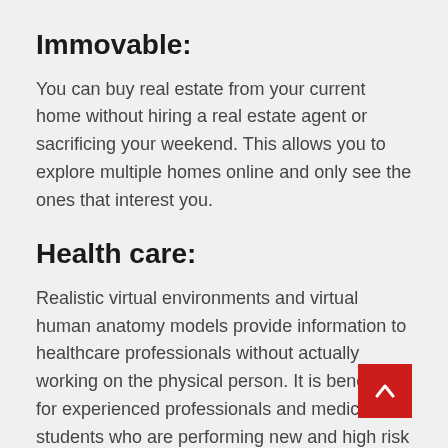Immovable:
You can buy real estate from your current home without hiring a real estate agent or sacrificing your weekend. This allows you to explore multiple homes online and only see the ones that interest you.
Health care:
Realistic virtual environments and virtual human anatomy models provide information to healthcare professionals without actually working on the physical person. It is beneficial for experienced professionals and medical students who are performing new and high risk procedures. Virtual reality may also have therapeutic benefits for mental health patients.
Tourism: